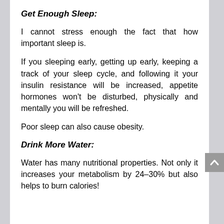Get Enough Sleep:
I cannot stress enough the fact that how important sleep is.
If you sleeping early, getting up early, keeping a track of your sleep cycle, and following it your insulin resistance will be increased, appetite hormones won't be disturbed, physically and mentally you will be refreshed.
Poor sleep can also cause obesity.
Drink More Water:
Water has many nutritional properties. Not only it increases your metabolism by 24–30% but also helps to burn calories!